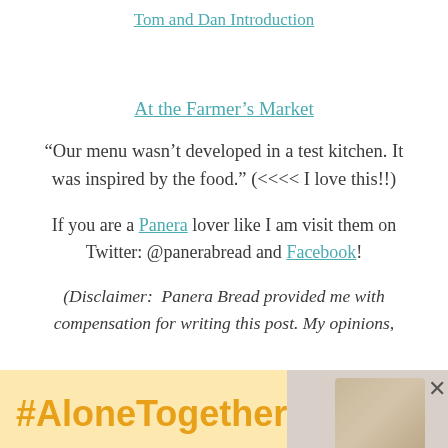Tom and Dan Introduction
At the Farmer's Market
“Our menu wasn’t developed in a test kitchen. It was inspired by the food.” (<<<< I love this!!)
If you are a Panera lover like I am visit them on Twitter: @panerabread and Facebook!
(Disclaimer:  Panera Bread provided me with compensation for writing this post. My opinions,
[Figure (other): Advertisement banner with #AloneTogether text in orange on yellow background and a photo of a woman eating]